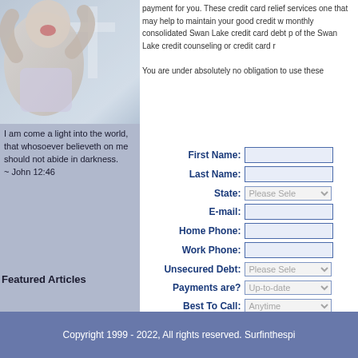[Figure (photo): Photo of a person (child/person laughing) with a cross shape visible in the background, bluish-gray tones]
I am come a light into the world, that whosoever believeth on me should not abide in darkness. ~ John 12:46
Featured Articles
payment for you. These credit card relief services one that may help to maintain your good credit w monthly consolidated Swan Lake credit card debt p of the Swan Lake credit counseling or credit card r
You are under absolutely no obligation to use these
| Field | Input |
| --- | --- |
| First Name: |  |
| Last Name: |  |
| State: | Please Sele |
| E-mail: |  |
| Home Phone: |  |
| Work Phone: |  |
| Unsecured Debt: | Please Sele |
| Payments are? | Up-to-date |
| Best To Call: | Anytime |
|  | Submit Appl |
Copyright 1999 - 2022, All rights reserved. Surfinthespi